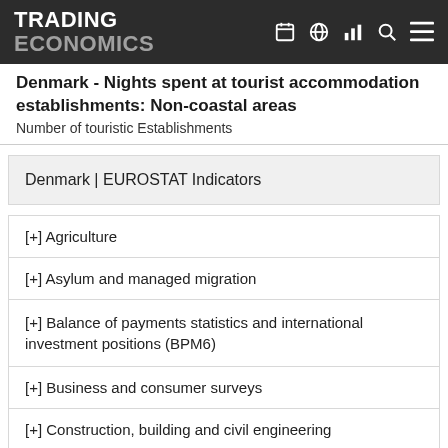TRADING ECONOMICS
Denmark - Nights spent at tourist accommodation establishments: Non-coastal areas
Number of touristic Establishments
Denmark | EUROSTAT Indicators
[+] Agriculture
[+] Asylum and managed migration
[+] Balance of payments statistics and international investment positions (BPM6)
[+] Business and consumer surveys
[+] Construction, building and civil engineering